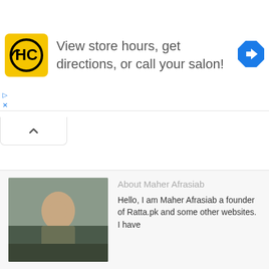[Figure (infographic): Advertisement banner for a hair salon service with HC logo in yellow square, navigation icon, text 'View store hours, get directions, or call your salon!', play and close controls]
[Figure (other): Collapsed/collapse toggle button with upward chevron]
[Figure (photo): Portrait photo of Maher Afrasiab outdoors in a crowd]
About Maher Afrasiab
Hello, I am Maher Afrasiab a founder of Ratta.pk and some other websites. I have